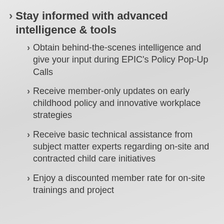Stay informed with advanced intelligence & tools
Obtain behind-the-scenes intelligence and give your input during EPIC's Policy Pop-Up Calls
Receive member-only updates on early childhood policy and innovative workplace strategies
Receive basic technical assistance from subject matter experts regarding on-site and contracted child care initiatives
Enjoy a discounted member rate for on-site trainings and project